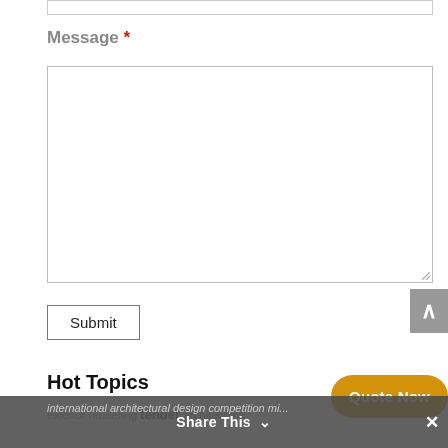[Figure (screenshot): Top portion of a web form input field (empty text input bar at the very top of the page)]
Message *
[Figure (screenshot): Large empty textarea form field with resize handle in bottom-right corner]
[Figure (screenshot): Submit button with border]
Hot Topics
exterior rendering tender architectural vi...
international architectural design competition mi...
[Figure (screenshot): Orange rounded 'Quote Now' button in bottom right]
[Figure (screenshot): Dark grey 'Share This' bar at bottom with chevron and close X button]
[Figure (screenshot): Grey scroll-to-top button with upward caret on right side]